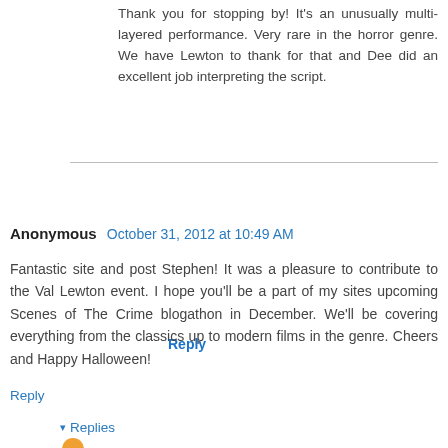Thank you for stopping by! It's an unusually multi-layered performance. Very rare in the horror genre. We have Lewton to thank for that and Dee did an excellent job interpreting the script.
Reply
Anonymous October 31, 2012 at 10:49 AM
Fantastic site and post Stephen! It was a pleasure to contribute to the Val Lewton event. I hope you'll be a part of my sites upcoming Scenes of The Crime blogathon in December. We'll be covering everything from the classics up to modern films in the genre. Cheers and Happy Halloween!
Reply
Replies